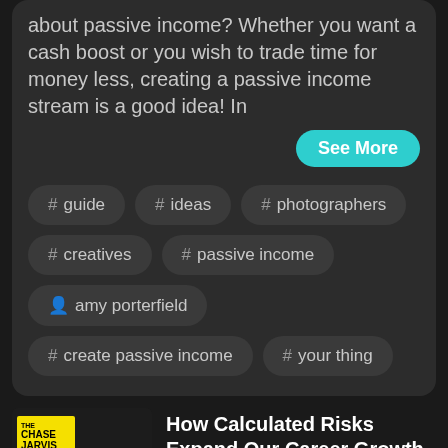about passive income? Whether you want a cash boost or you wish to trade time for money less, creating a passive income stream is a good idea! In
See More
# guide
# ideas
# photographers
# creatives
# passive income
amy porterfield
# create passive income
# your thing
[Figure (photo): Podcast thumbnail for The Chase Jarvis LIVE Show featuring host photo and yellow logo box]
How Calculated Risks Expand Our Career Growth
The Chase Jarvis LIVE Show